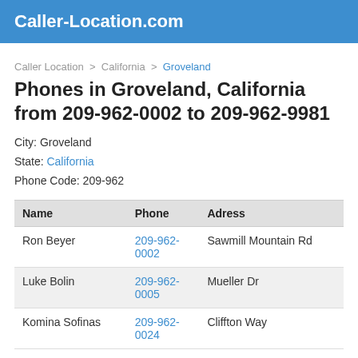Caller-Location.com
Caller Location > California > Groveland
Phones in Groveland, California from 209-962-0002 to 209-962-9981
City: Groveland
State: California
Phone Code: 209-962
| Name | Phone | Adress |
| --- | --- | --- |
| Ron Beyer | 209-962-0002 | Sawmill Mountain Rd |
| Luke Bolin | 209-962-0005 | Mueller Dr |
| Komina Sofinas | 209-962-0024 | Cliffton Way |